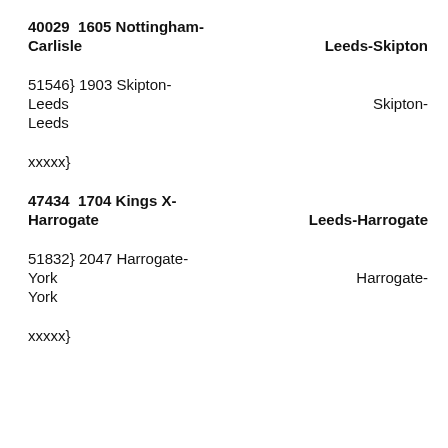40029  1605 Nottingham-Carlisle   Leeds-Skipton
51546} 1903 Skipton-Leeds   Skipton-Leeds
xxxxx}
47434  1704 Kings X-Harrogate   Leeds-Harrogate
51832} 2047 Harrogate-York   Harrogate-York
xxxxx}